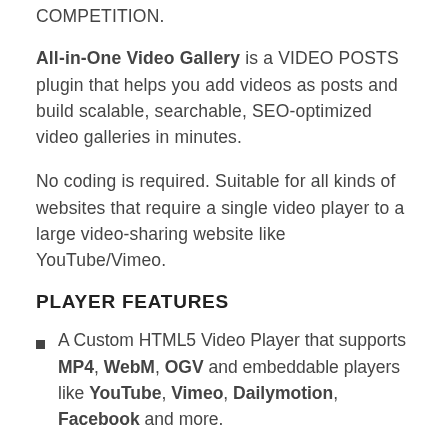COMPETITION.
All-in-One Video Gallery is a VIDEO POSTS plugin that helps you add videos as posts and build scalable, searchable, SEO-optimized video galleries in minutes.
No coding is required. Suitable for all kinds of websites that require a single video player to a large video-sharing website like YouTube/Vimeo.
PLAYER FEATURES
A Custom HTML5 Video Player that supports MP4, WebM, OGV and embeddable players like YouTube, Vimeo, Dailymotion, Facebook and more.
Player controls: play/pause buttons, timer, progress bar, duration, quality switcher, speed control, volume button, fullscreen button, share